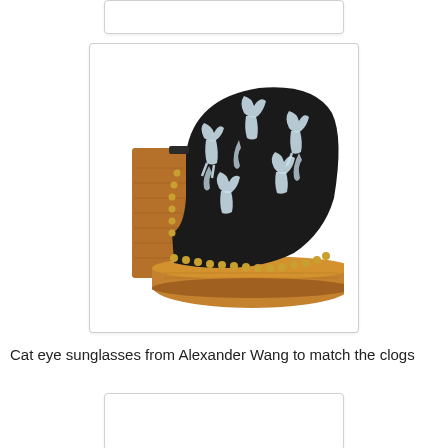[Figure (photo): Partial view of a card/image at the top of the page, cropped]
[Figure (photo): A platform clog shoe with a wooden heel and platform sole. The upper is black fabric with white illustrated cat/animal print motifs. Gold studded trim runs along the edge where the upper meets the wooden sole. The heel is a chunky wooden block heel.]
Cat eye sunglasses from Alexander Wang to match the clogs
[Figure (photo): Partial view of another card/image at the bottom of the page, cropped]